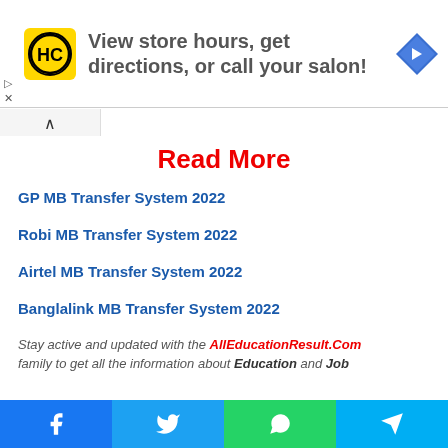[Figure (other): Advertisement banner: HC salon logo (yellow circle with HC letters), text 'View store hours, get directions, or call your salon!', blue diamond navigation arrow icon on right. Small play and X controls on left.]
Read More
GP MB Transfer System 2022
Robi MB Transfer System 2022
Airtel MB Transfer System 2022
Banglalink MB Transfer System 2022
Stay active and updated with the AllEducationResult.Com family to get all the information about Education and Job
[Figure (other): Social share bar with Facebook, Twitter, WhatsApp, and Telegram buttons]